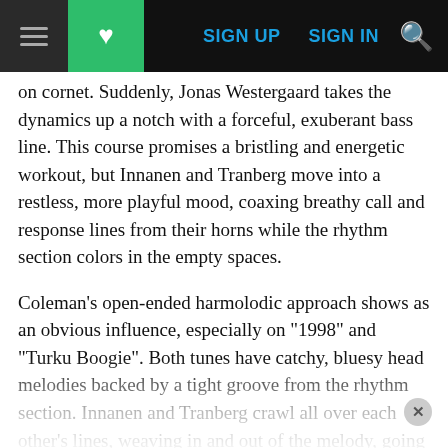[Figure (screenshot): Website navigation bar with hamburger menu icon, green heart/bookmark button, SIGN UP and SIGN IN links in blue, and a yellow search icon on black background]
on cornet. Suddenly, Jonas Westergaard takes the dynamics up a notch with a forceful, exuberant bass line. This course promises a bristling and energetic workout, but Innanen and Tranberg move into a restless, more playful mood, coaxing breathy call and response lines from their horns while the rhythm section colors in the empty spaces.
Coleman's open-ended harmolodic approach shows as an obvious influence, especially on "1998" and "Turku Boogie". Both tunes have catchy, bluesy head melodies backed by a tight groove from the rhythm section. Innanen and Tranberg crawl all over each other's lines, weaving in and out of the melody, going where the moment takes them. But they use Coleman's ideas only as a mood to inspire imagination, not as a template.